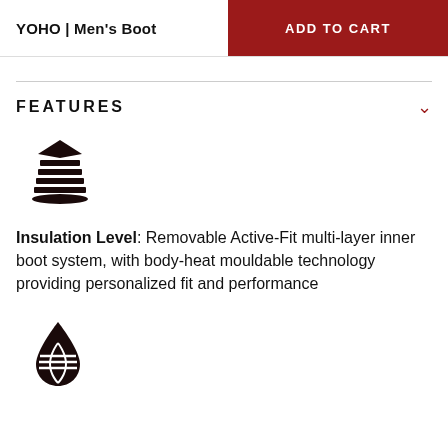YOHO | Men's Boot
ADD TO CART
FEATURES
[Figure (illustration): Stacked layers icon representing insulation/multi-layer boot system]
Insulation Level: Removable Active-Fit multi-layer inner boot system, with body-heat mouldable technology providing personalized fit and performance
[Figure (illustration): Water droplet with globe/lines icon representing waterproofing feature]